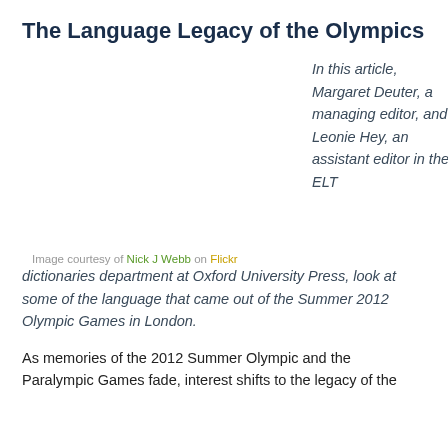The Language Legacy of the Olympics
[Figure (photo): Image placeholder (photo of Olympics, blank white area in original)]
Image courtesy of Nick J Webb on Flickr
In this article, Margaret Deuter, a managing editor, and Leonie Hey, an assistant editor in the ELT dictionaries department at Oxford University Press, look at some of the language that came out of the Summer 2012 Olympic Games in London.
As memories of the 2012 Summer Olympic and the Paralympic Games fade, interest shifts to the legacy of the